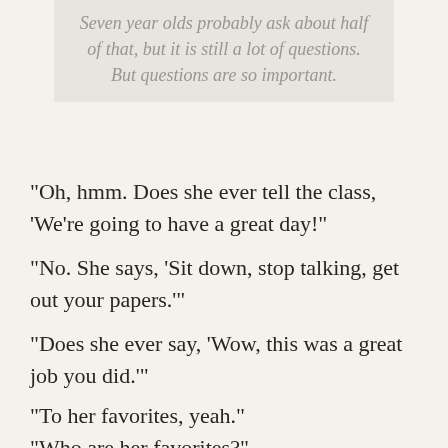Seven year olds probably ask about half of that, but it is still a lot of questions. But questions are so important.
“Oh, hmm. Does she ever tell the class, ‘We’re going to have a great day!”
“No. She says, ‘Sit down, stop talking, get out your papers.’”
“Does she ever say, ‘Wow, this was a great job you did.’”
“To her favorites, yeah.”
“Who are her favorites?”